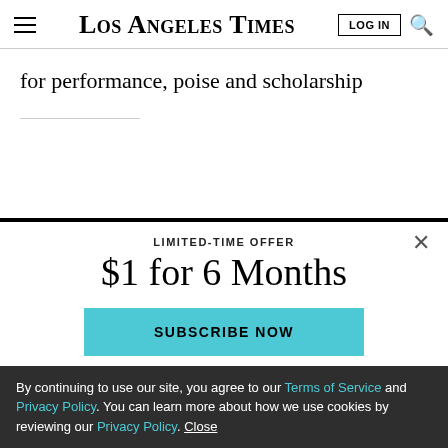Los Angeles Times
for performance, poise and scholarship
LIMITED-TIME OFFER
$1 for 6 Months
SUBSCRIBE NOW
By continuing to use our site, you agree to our Terms of Service and Privacy Policy. You can learn more about how we use cookies by reviewing our Privacy Policy. Close